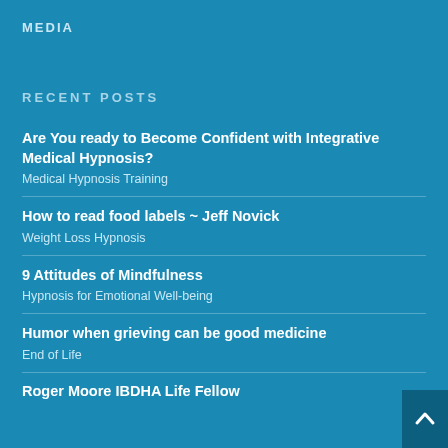MEDIA
RECENT POSTS
Are You ready to Become Confident with Integrative Medical Hypnosis?
Medical Hypnosis Training
How to read food labels ~ Jeff Novick
Weight Loss Hypnosis
9 Attitudes of Mindfulness
Hypnosis for Emotional Well-being
Humor when grieving can be good medicine
End of Life
Roger Moore IBDHA Life Fellow